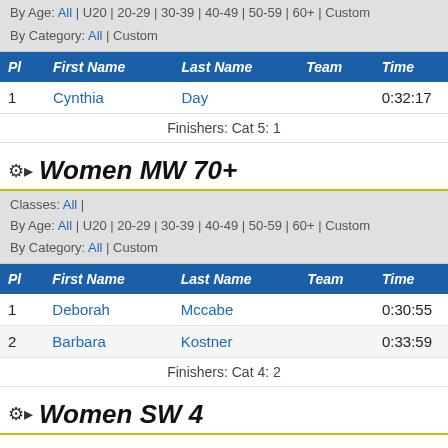By Age: All | U20 | 20-29 | 30-39 | 40-49 | 50-59 | 60+ | Custom
By Category: All | Custom
| Pl | First Name | Last Name | Team | Time |
| --- | --- | --- | --- | --- |
| 1 | Cynthia | Day |  | 0:32:17 |
|  | Finishers: Cat 5: 1 |  |  |  |
Women MW 70+
Classes: All |
By Age: All | U20 | 20-29 | 30-39 | 40-49 | 50-59 | 60+ | Custom
By Category: All | Custom
| Pl | First Name | Last Name | Team | Time |
| --- | --- | --- | --- | --- |
| 1 | Deborah | Mccabe |  | 0:30:55 |
| 2 | Barbara | Kostner |  | 0:33:59 |
|  | Finishers: Cat 4: 2 |  |  |  |
Women SW 4